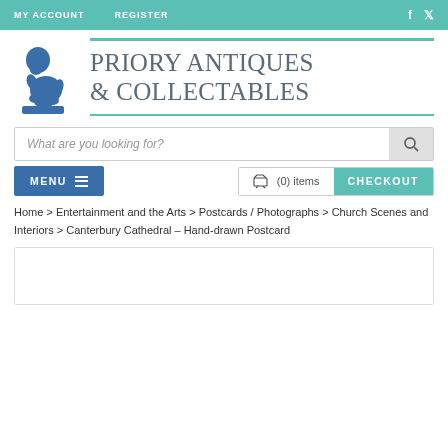MY ACCOUNT   REGISTER   f   Twitter
[Figure (logo): Priory Antiques & Collectables logo with blue Thinker statue figure and serif text]
What are you looking for?
MENU  ☰    (0) items   CHECKOUT
Home > Entertainment and the Arts > Postcards / Photographs > Church Scenes and Interiors > Canterbury Cathedral – Hand-drawn Postcard